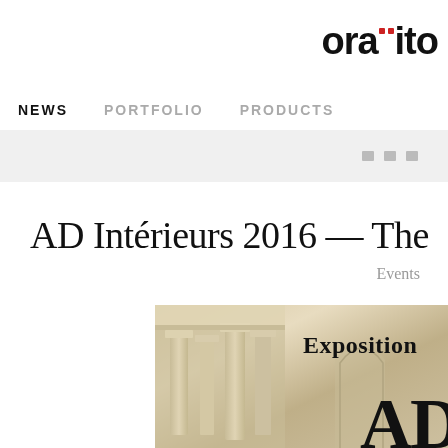oraïito
NEWS  PORTFOLIO  PRODUCTS
AD Intérieurs 2016 — The
Events
[Figure (photo): Architectural interior image showing ornate classical columns and moldings, with 'Exposition' and 'AD' text overlaid]